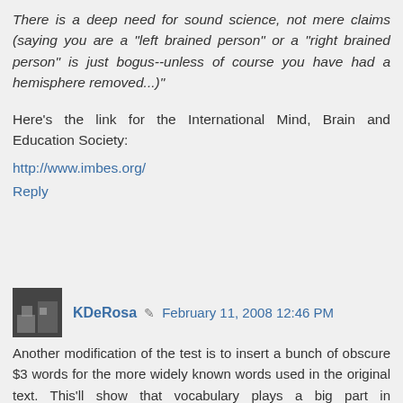There is a deep need for sound science, not mere claims (saying you are a "left brained person" or a "right brained person" is just bogus--unless of course you have had a hemisphere removed...)"
Here's the link for the International Mind, Brain and Education Society:
http://www.imbes.org/
Reply
KDeRosa   February 11, 2008 12:46 PM
Another modification of the test is to insert a bunch of obscure $3 words for the more widely known words used in the original text. This'll show that vocabulary plays a big part in compehension as well.
If a child understands a passage when it is spoken to him, yet doesn't understand the same passage when he reads